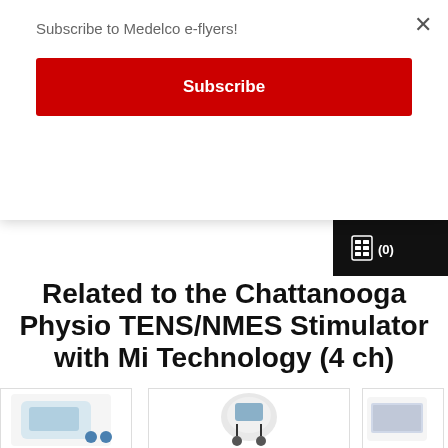Subscribe to Medelco e-flyers!
Subscribe
[Figure (screenshot): Partial product image of a medical stimulator device with blue and grey interface]
[Figure (other): Calculator/cart icon with (0) label on black background]
Related to the Chattanooga Physio TENS/NMES Stimulator with Mi Technology (4 ch)
[Figure (photo): Medical stimulator device - white rounded device with display screen and two cable attachments]
[Figure (photo): Partial view of a medical device on left edge]
[Figure (photo): Partial view of a medical device on right edge]